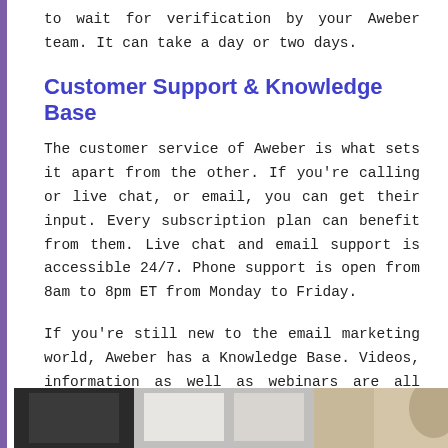to wait for verification by your Aweber team. It can take a day or two days.
Customer Support & Knowledge Base
The customer service of Aweber is what sets it apart from the other. If you're calling or live chat, or email, you can get their input. Every subscription plan can benefit from them. Live chat and email support is accessible 24/7. Phone support is open from 8am to 8pm ET from Monday to Friday.
If you're still new to the email marketing world, Aweber has a Knowledge Base. Videos, information as well as webinars are all available here. This will ensure that people know what they can do in their campaigns.
[Figure (photo): Partial view of a photo showing laptops and a person, visible at the bottom of the page]